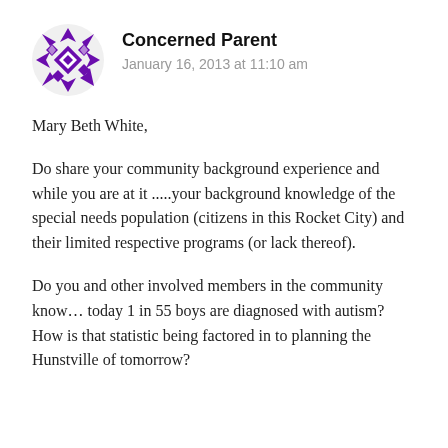[Figure (logo): Purple geometric snowflake/quilt pattern avatar icon for user 'Concerned Parent']
Concerned Parent
January 16, 2013 at 11:10 am
Mary Beth White,
Do share your community background experience and while you are at it .....your background knowledge of the special needs population (citizens in this Rocket City) and their limited respective programs (or lack thereof).
Do you and other involved members in the community know… today 1 in 55 boys are diagnosed with autism? How is that statistic being factored in to planning the Hunstville of tomorrow?